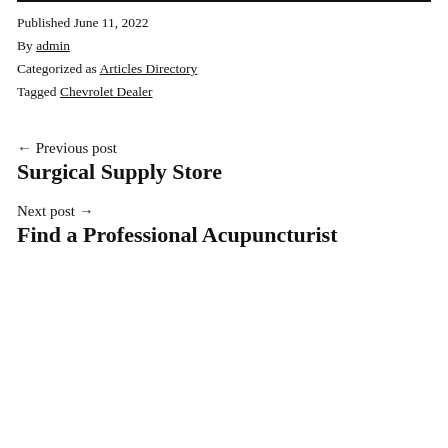Published June 11, 2022
By admin
Categorized as Articles Directory
Tagged Chevrolet Dealer
← Previous post
Surgical Supply Store
Next post →
Find a Professional Acupuncturist